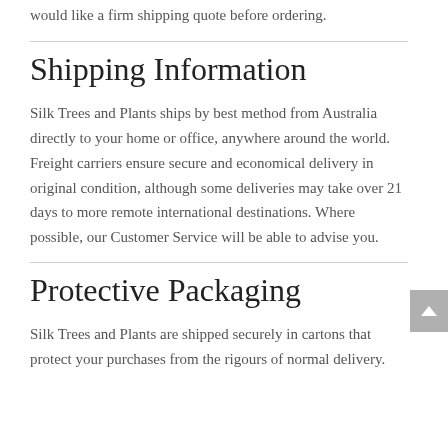would like a firm shipping quote before ordering.
Shipping Information
Silk Trees and Plants ships by best method from Australia directly to your home or office, anywhere around the world. Freight carriers ensure secure and economical delivery in original condition, although some deliveries may take over 21 days to more remote international destinations. Where possible, our Customer Service will be able to advise you.
Protective Packaging
Silk Trees and Plants are shipped securely in cartons that protect your purchases from the rigours of normal delivery.